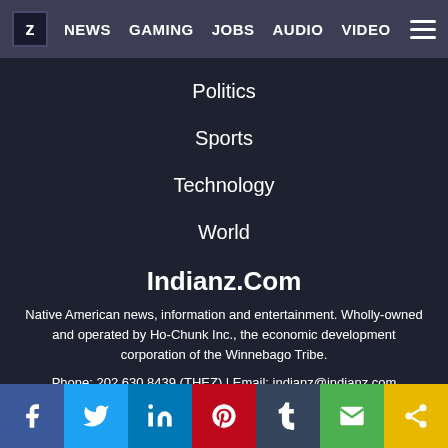z NEWS GAMING JOBS AUDIO VIDEO
Politics
Sports
Technology
World
Indianz.Com
Native American news, information and entertainment. Wholly-owned and operated by Ho-Chunk Inc., the economic development corporation of the Winnebago Tribe.
Phone: 202 630 8439 (THEZ) | Email: indianz@indianz.com
Social media links: Facebook, Twitter, LinkedIn, Pinterest, Tumblr, Email, Share